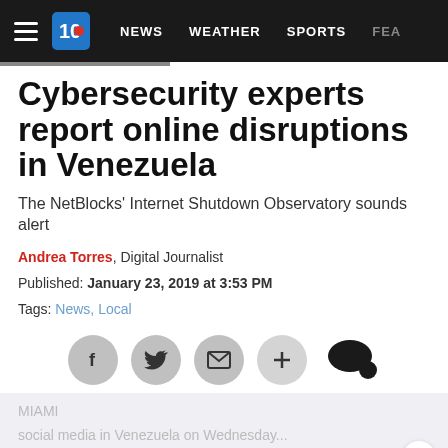NEWS | WEATHER | SPORTS | FEA...
Cybersecurity experts report online disruptions in Venezuela
The NetBlocks' Internet Shutdown Observatory sounds alert
Andrea Torres, Digital Journalist
Published: January 23, 2019 at 3:53 PM
Tags: News, Local
[Figure (screenshot): Social media sharing buttons: Facebook, Twitter, Email, Plus, Comments]
social media in Venezuela on Wednesday...